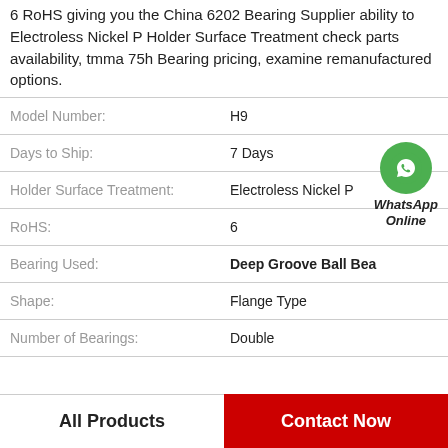6 RoHS giving you the China 6202 Bearing Supplier ability to Electroless Nickel P Holder Surface Treatment check parts availability, tmma 75h Bearing pricing, examine remanufactured options.
| Property | Value |
| --- | --- |
| Model Number: | H9 |
| Days to Ship: | 7 Days |
| Holder Surface Treatment: | Electroless Nickel P |
| RoHS: | 6 |
| Bearing Used: | Deep Groove Ball Bea |
| Shape: | Flange Type |
| Number of Bearings: | Double |
All Products
Contact Now